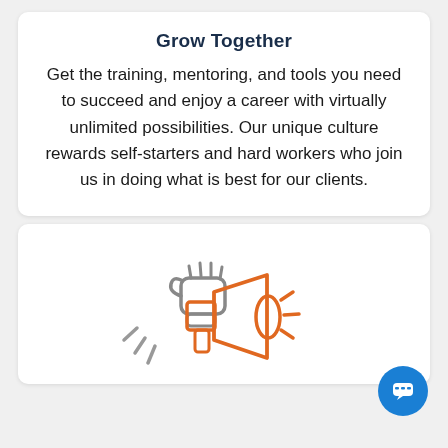Grow Together
Get the training, mentoring, and tools you need to succeed and enjoy a career with virtually unlimited possibilities. Our unique culture rewards self-starters and hard workers who join us in doing what is best for our clients.
[Figure (illustration): Orange and grey megaphone/bullhorn icon with a hand holding it and sound waves, indicating announcements or advocacy.]